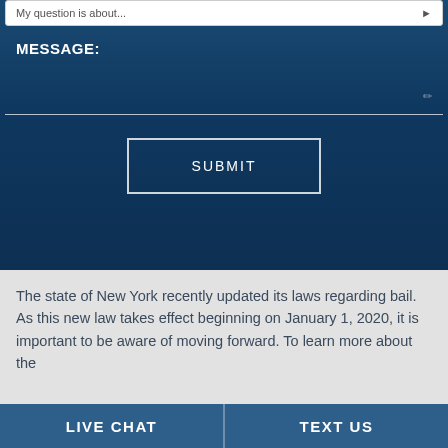My question is about...
MESSAGE:
[Figure (screenshot): Submit button with white border on dark blue background]
The state of New York recently updated its laws regarding bail. As this new law takes effect beginning on January 1, 2020, it is important to be aware of moving forward. To learn more about the
LIVE CHAT   TEXT US